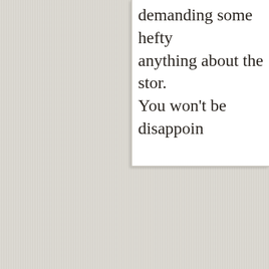demanding some hefty anything about the stor. You won't be disappoin